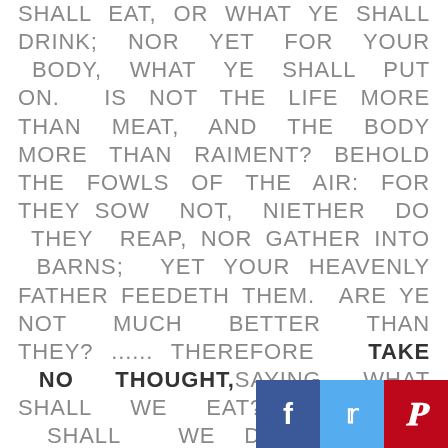SHALL EAT, OR WHAT YE SHALL DRINK; NOR YET FOR YOUR BODY, WHAT YE SHALL PUT ON. IS NOT THE LIFE MORE THAN MEAT, AND THE BODY MORE THAN RAIMENT? BEHOLD THE FOWLS OF THE AIR: FOR THEY SOW NOT, NIETHER DO THEY REAP, NOR GATHER INTO BARNS; YET YOUR HEAVENLY FATHER FEEDETH THEM. ARE YE NOT MUCH BETTER THAN THEY? ...... THEREFORE TAKE NO THOUGHT, SAYING WHAT SHALL WE EAT? OR, WHAT SHALL WE DRINK? OR, WHEREWITHALL SHALL WE BE CLOTHED? [FOR AFTER ALL THESE THINGS DO THE GENTILES SEEK;] FOR YOUR HEAVENLY FATHER KHNOWETH THAT YE HAVE NEED OF ALL THESE THINGS. BUT SEEK YE FIRST THE KINGDOM OF GOD AND HIS RIGHTEOUSNESS; AND ALL THES THINGS SHALL BE ADDED UNTO YOU. TAKE THEREFORE NO THOUGHT FOR THE MORROW SHALL TAKE THOU
[Figure (infographic): Social media sharing buttons: Facebook (blue), Twitter (light blue), Pinterest (red) at bottom right corner]